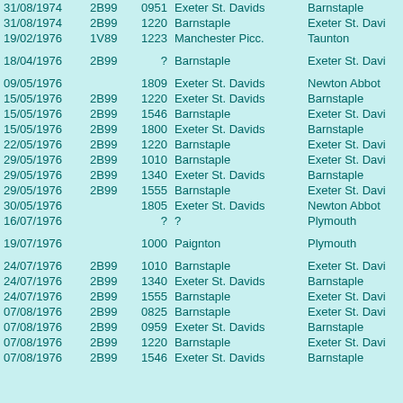| Date | Code | Time | From | To |
| --- | --- | --- | --- | --- |
| 31/08/1974 | 2B99 | 0951 | Exeter St. Davids | Barnstaple |
| 31/08/1974 | 2B99 | 1220 | Barnstaple | Exeter St. Davi |
| 19/02/1976 | 1V89 | 1223 | Manchester Picc. | Taunton |
|  |  |  |  |  |
| 18/04/1976 | 2B99 | ? | Barnstaple | Exeter St. Davi |
|  |  |  |  |  |
| 09/05/1976 |  | 1809 | Exeter St. Davids | Newton Abbot |
| 15/05/1976 | 2B99 | 1220 | Exeter St. Davids | Barnstaple |
| 15/05/1976 | 2B99 | 1546 | Barnstaple | Exeter St. Davi |
| 15/05/1976 | 2B99 | 1800 | Exeter St. Davids | Barnstaple |
| 22/05/1976 | 2B99 | 1220 | Barnstaple | Exeter St. Davi |
| 29/05/1976 | 2B99 | 1010 | Barnstaple | Exeter St. Davi |
| 29/05/1976 | 2B99 | 1340 | Exeter St. Davids | Barnstaple |
| 29/05/1976 | 2B99 | 1555 | Barnstaple | Exeter St. Davi |
| 30/05/1976 |  | 1805 | Exeter St. Davids | Newton Abbot |
| 16/07/1976 |  | ? | ? | Plymouth |
|  |  |  |  |  |
| 19/07/1976 |  | 1000 | Paignton | Plymouth |
|  |  |  |  |  |
| 24/07/1976 | 2B99 | 1010 | Barnstaple | Exeter St. Davi |
| 24/07/1976 | 2B99 | 1340 | Exeter St. Davids | Barnstaple |
| 24/07/1976 | 2B99 | 1555 | Barnstaple | Exeter St. Davi |
| 07/08/1976 | 2B99 | 0825 | Barnstaple | Exeter St. Davi |
| 07/08/1976 | 2B99 | 0959 | Exeter St. Davids | Barnstaple |
| 07/08/1976 | 2B99 | 1220 | Barnstaple | Exeter St. Davi |
| 07/08/1976 | 2B99 | 1546 | Exeter St. Davids | Barnstaple |